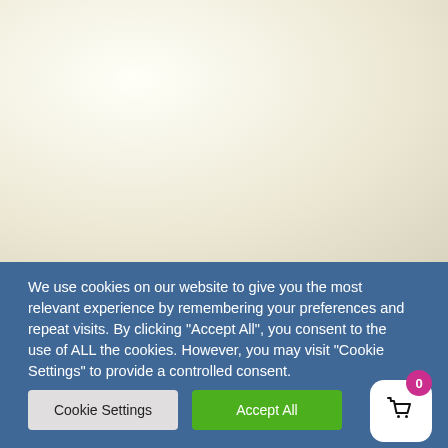[Figure (illustration): Light cream/off-white textured background area occupying the top portion of the page, resembling aged or recycled paper texture.]
We use cookies on our website to give you the most relevant experience by remembering your preferences and repeat visits. By clicking “Accept All”, you consent to the use of ALL the cookies. However, you may visit "Cookie Settings" to provide a controlled consent.
Cookie Settings
Accept All
[Figure (illustration): Shopping cart widget: a white rounded square icon with a black basket/cart symbol, with a pink/magenta circular badge showing the number 0.]